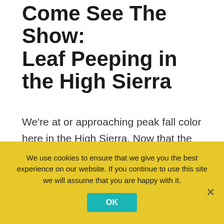Come See The Show: Leaf Peeping in the High Sierra
We're at or approaching peak fall color here in the High Sierra. Now that the heat of summer has past, it's a glorious time to visit us here in Bridgeport for some leaf peeping. In this post, we're highlighting some of the areas within an easy drive, where you can go to see Nature's stunning annual show. All it'll cost you is the price of a tank of gas and an afternoon, to witness the best our lovely wilderness
We use cookies to ensure that we give you the best experience on our website. If you continue to use this site we will assume that you are happy with it.